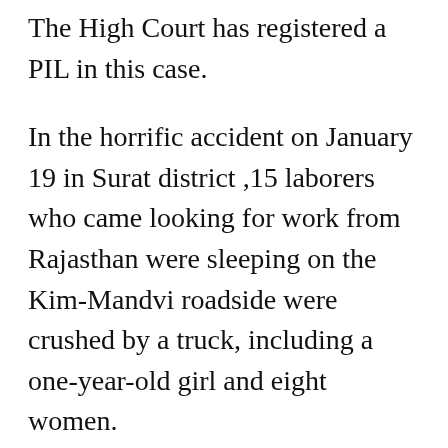The High Court has registered a PIL in this case.
In the horrific accident on January 19 in Surat district ,15 laborers who came looking for work from Rajasthan were sleeping on the Kim-Mandvi roadside were crushed by a truck, including a one-year-old girl and eight women.
The Division Bench of Chief Justice Vikram Nath and Justice AJ Shastr...